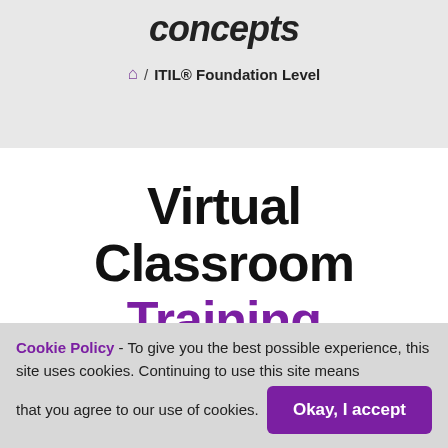concepts
🏠 / ITIL® Foundation Level
Virtual Classroom Training
[Figure (illustration): Camera or webcam icon outline illustration]
Cookie Policy - To give you the best possible experience, this site uses cookies. Continuing to use this site means that you agree to our use of cookies. Okay, I accept